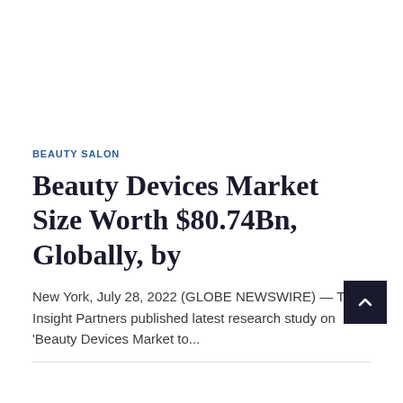BEAUTY SALON
Beauty Devices Market Size Worth $80.74Bn, Globally, by
New York, July 28, 2022 (GLOBE NEWSWIRE) — The Insight Partners published latest research study on 'Beauty Devices Market to...